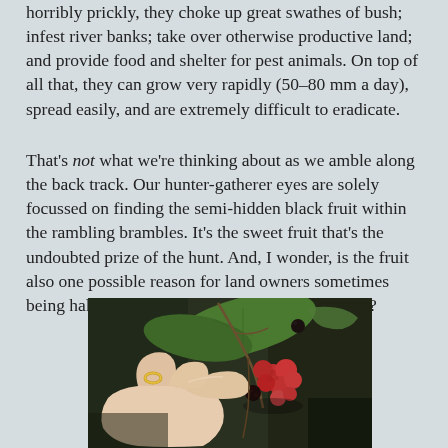horribly prickly, they choke up great swathes of bush; infest river banks; take over otherwise productive land; and provide food and shelter for pest animals. On top of all that, they can grow very rapidly (50–80 mm a day), spread easily, and are extremely difficult to eradicate.
That's not what we're thinking about as we amble along the back track. Our hunter-gatherer eyes are solely focussed on finding the semi-hidden black fruit within the rambling brambles. It's the sweet fruit that's the undoubted prize of the hunt. And, I wonder, is the fruit also one possible reason for land owners sometimes being half-hearted about eradicating blackberries?
[Figure (photo): A hand with a gold ring picking ripe and unripe blackberries from a bramble plant with green leaves, photographed close up against a dark background.]